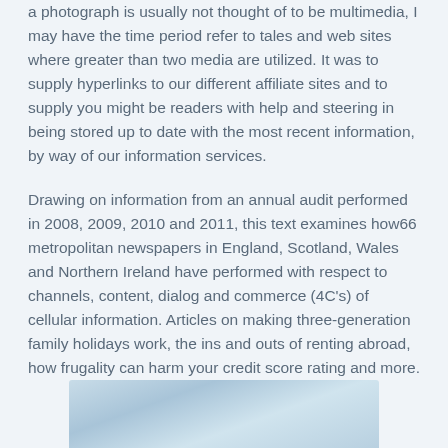a photograph is usually not thought of to be multimedia, I may have the time period refer to tales and web sites where greater than two media are utilized. It was to supply hyperlinks to our different affiliate sites and to supply you might be readers with help and steering in being stored up to date with the most recent information, by way of our information services.
Drawing on information from an annual audit performed in 2008, 2009, 2010 and 2011, this text examines how66 metropolitan newspapers in England, Scotland, Wales and Northern Ireland have performed with respect to channels, content, dialog and commerce (4C's) of cellular information. Articles on making three-generation family holidays work, the ins and outs of renting abroad, how frugality can harm your credit score rating and more.
[Figure (photo): Partial image visible at the bottom of the page, appears to be a sky or water scene in light blue tones.]